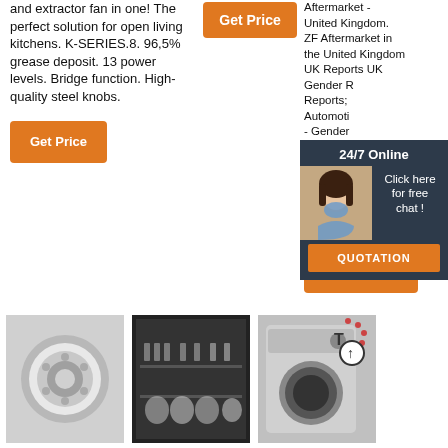and extractor fan in one! The perfect solution for open living kitchens. K-SERIES.8. 96,5% grease deposit. 13 power levels. Bridge function. High-quality steel knobs.
Aftermarket - United Kingdom. ZF Aftermarket in the United Kingdom UK Reports UK Gender Reports; Automotive - Gender Report 2 202 KB) Lemförde Gender Report 2 1.6 MB)
Get Price
Get Price
Get Price
[Figure (other): 24/7 Online chat overlay with customer service agent photo and QUOTATION button]
[Figure (photo): Washing machine drum interior close-up]
[Figure (photo): Open dishwasher loaded with dishes]
[Figure (photo): Washing machine with Top badge overlay]